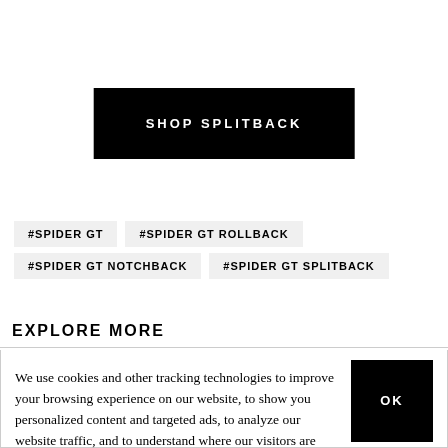[Figure (other): Black button/banner with white bold text reading SHOP SPLITBACK]
#SPIDER GT
#SPIDER GT ROLLBACK
#SPIDER GT NOTCHBACK
#SPIDER GT SPLITBACK
EXPLORE MORE
We use cookies and other tracking technologies to improve your browsing experience on our website, to show you personalized content and targeted ads, to analyze our website traffic, and to understand where our visitors are coming from.